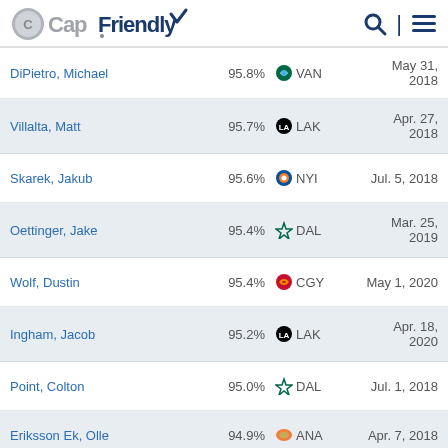CapFriendly
| Name | Pct | Team | Date |
| --- | --- | --- | --- |
| DiPietro, Michael | 95.8% | VAN | May 31, 2018 |
| Villalta, Matt | 95.7% | LAK | Apr. 27, 2018 |
| Skarek, Jakub | 95.6% | NYI | Jul. 5, 2018 |
| Oettinger, Jake | 95.4% | DAL | Mar. 25, 2019 |
| Wolf, Dustin | 95.4% | CGY | May 1, 2020 |
| Ingham, Jacob | 95.2% | LAK | Apr. 18, 2020 |
| Point, Colton | 95.0% | DAL | Jul. 1, 2018 |
| Eriksson Ek, Olle | 94.9% | ANA | Apr. 7, 2018 |
| Tendeck, David | 94.6% | ARI | Apr. 6, 2020 |
| Berdin, Mikhail | 94.6% | WPG | May 19, 2018 |
| Westerholm, Niclas | 94.6% | NSH | Apr. 3, 2018 |